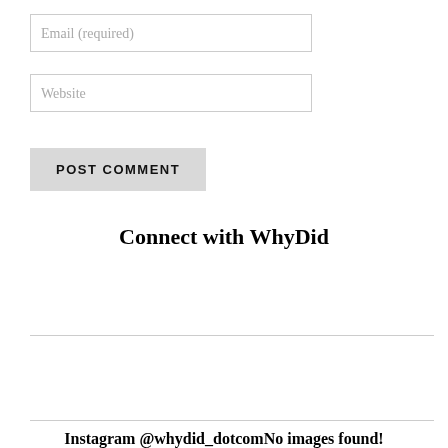Email (required)
Website
POST COMMENT
Connect with WhyDid
Instagram @whydid_dotcomNo images found!